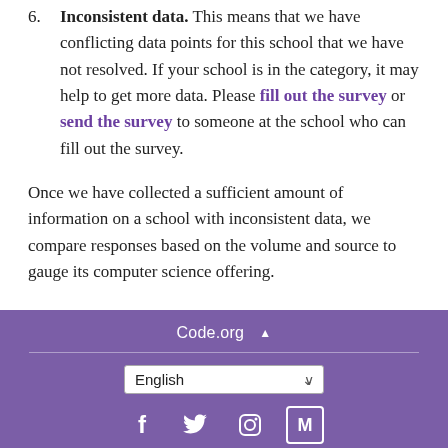6. Inconsistent data. This means that we have conflicting data points for this school that we have not resolved. If your school is in the category, it may help to get more data. Please fill out the survey or send the survey to someone at the school who can fill out the survey.
Once we have collected a sufficient amount of information on a school with inconsistent data, we compare responses based on the volume and source to gauge its computer science offering.
Code.org ^
English
© Code.org, 2022. Code.org®, the CODE logo and Hour of Code® are trademarks of Code.org.
Built on GitHub from Microsoft
powered by aws